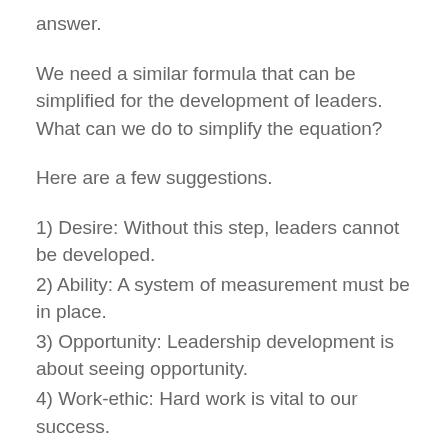answer.
We need a similar formula that can be simplified for the development of leaders. What can we do to simplify the equation?
Here are a few suggestions.
1) Desire: Without this step, leaders cannot be developed.
2) Ability: A system of measurement must be in place.
3) Opportunity: Leadership development is about seeing opportunity.
4) Work-ethic: Hard work is vital to our success.
5) God: Without God, where are we leading?